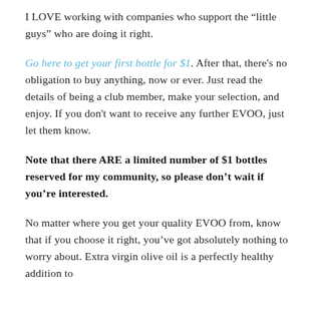I LOVE working with companies who support the “little guys” who are doing it right.
Go here to get your first bottle for $1. After that, there’s no obligation to buy anything, now or ever. Just read the details of being a club member, make your selection, and enjoy. If you don't want to receive any further EVOO, just let them know.
Note that there ARE a limited number of $1 bottles reserved for my community, so please don’t wait if you’re interested.
No matter where you get your quality EVOO from, know that if you choose it right, you’ve got absolutely nothing to worry about. Extra virgin olive oil is a perfectly healthy addition to